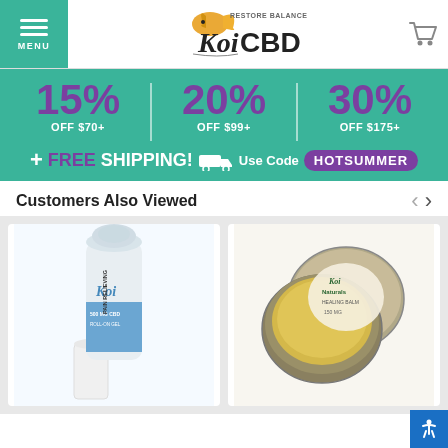[Figure (logo): Koi CBD logo with koi fish and 'Restore Balance' text]
[Figure (infographic): Promotional banner: 15% OFF $70+, 20% OFF $99+, 30% OFF $175+, Plus FREE SHIPPING! Use Code HOTSUMMER]
Customers Also Viewed
[Figure (photo): Koi Pain Relieving Roll-On Gel product photo]
[Figure (photo): Koi Naturals Healing Balm product photo]